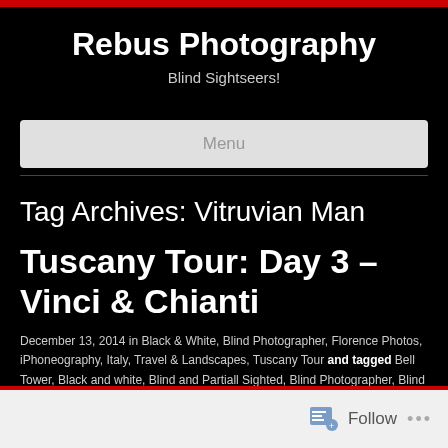Rebus Photography
Blind Sightseers!
Menu
Tag Archives: Vitruvian Man
Tuscany Tour: Day 3 – Vinci & Chianti
December 13, 2014 in Black & White, Blind Photographer, Florence Photos, iPhoneography, Italy, Travel & Landscapes, Tuscany Tour and tagged Bell Tower, Black and white, Blind and Partiall Sighted, Blind Photographer, Blind Photography, Chianti, Chianti Classico, Church, Church Building, Coach trips,
Follow